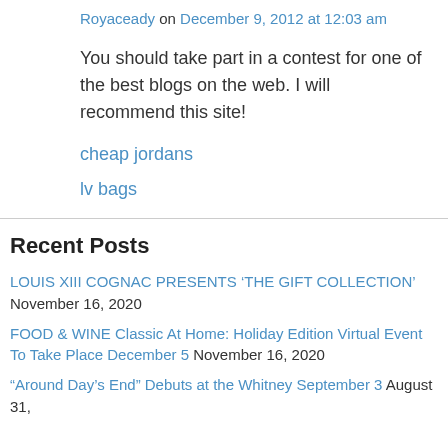Royaceady on December 9, 2012 at 12:03 am
You should take part in a contest for one of the best blogs on the web. I will recommend this site!
cheap jordans
lv bags
Recent Posts
LOUIS XIII COGNAC PRESENTS ‘THE GIFT COLLECTION’ November 16, 2020
FOOD & WINE Classic At Home: Holiday Edition Virtual Event To Take Place December 5 November 16, 2020
“Around Day’s End” Debuts at the Whitney September 3 August 31,